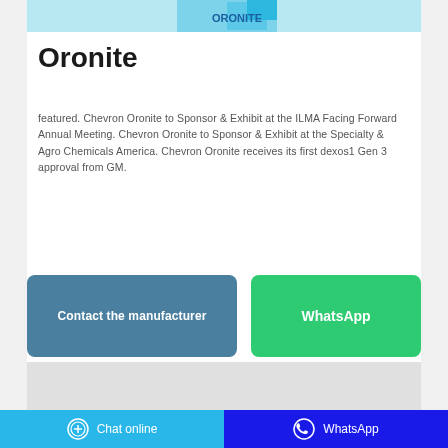[Figure (photo): Partial image of Oronite product (blue/cyan tones) at the top of the card]
Oronite
featured. Chevron Oronite to Sponsor & Exhibit at the ILMA Facing Forward Annual Meeting. Chevron Oronite to Sponsor & Exhibit at the Specialty & Agro Chemicals America. Chevron Oronite receives its first dexos1 Gen 3 approval from GM.
[Figure (screenshot): Two call-to-action buttons: 'Contact the manufacturer' (blue-grey) and 'WhatsApp' (green)]
[Figure (photo): Light grey image placeholder at the bottom of the card]
Chat online    WhatsApp